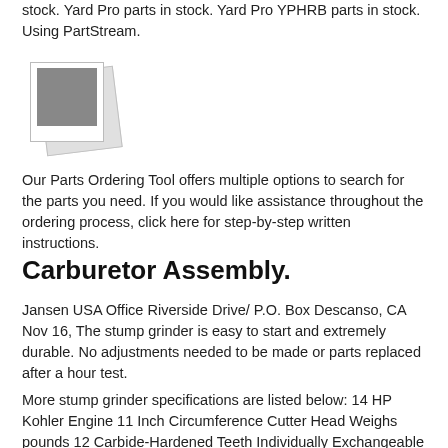stock. Yard Pro parts in stock. Yard Pro YPHRB parts in stock. Using PartStream.
[Figure (photo): Two overlapping polaroid-style placeholder image thumbnails]
Our Parts Ordering Tool offers multiple options to search for the parts you need. If you would like assistance throughout the ordering process, click here for step-by-step written instructions.
Carburetor Assembly.
Jansen USA Office Riverside Drive/ P.O. Box Descanso, CA Nov 16, The stump grinder is easy to start and extremely durable. No adjustments needed to be made or parts replaced after a hour test.
More stump grinder specifications are listed below: 14 HP Kohler Engine 11 Inch Circumference Cutter Head Weighs pounds 12 Carbide-Hardened Teeth Individually Exchangeable Teeth Free Safety Glasses Brand: Jansen USA.